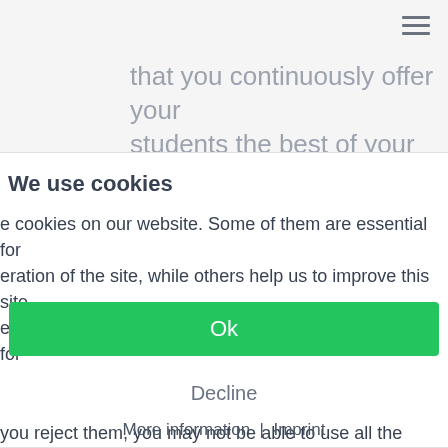≡
that you continuously offer your students the best of your teaching skills.
We use cookies
e cookies on our website. Some of them are essential for eration of the site, while others help us to improve this site e user experience (tracking cookies). You can decide for lf whether you want to allow cookies or not. Please note you reject them, you may not be able to use all the onalities of the site.
Ok
Decline
More information | Imprint